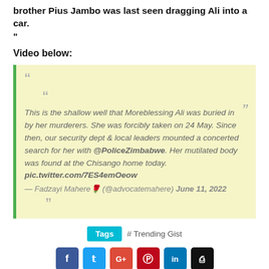brother Pius Jambo was last seen dragging Ali into a car.
"
Video below:
“This is the shallow well that Moreblessing Ali was buried in by her murderers. She was forcibly taken on 24 May. Since then, our security dept & local leaders mounted a concerted search for her with @PoliceZimbabwe. Her mutilated body was found at the Chisango home today. pic.twitter.com/7ES4emOeow
— Fadzayi Mahere🌹 (@advocatemahere) June 11, 2022
Tags  # Trending Gist